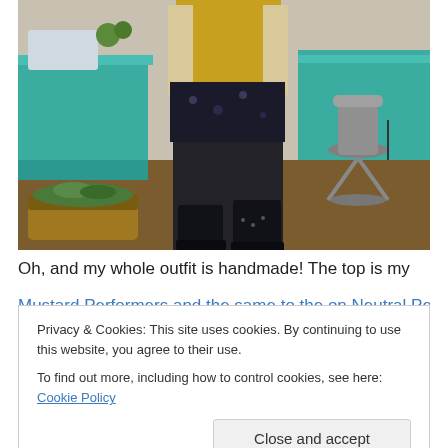[Figure (photo): A person standing in a craft/sewing room with teal/turquoise furniture, hardwood floors. The person wears a yellow top, dark floral skirt, dark tights, and black boots. A white stool, wicker basket with fabric, and sewing supplies are visible.]
Oh, and my whole outfit is handmade! The top is my
Privacy & Cookies: This site uses cookies. By continuing to use this website, you agree to their use.
To find out more, including how to control cookies, see here: Cookie Policy
Close and accept